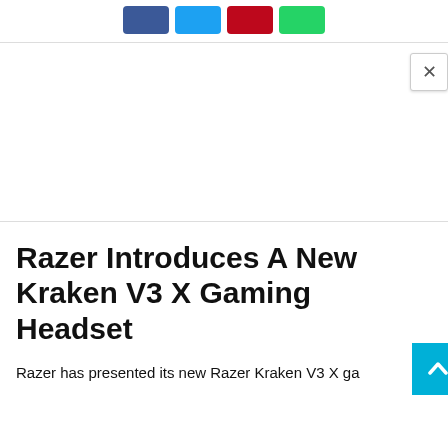Social share buttons: Facebook, Twitter, Pinterest, WhatsApp
[Figure (other): Advertisement placeholder area with close (X) button in upper right corner]
Razer Introduces A New Kraken V3 X Gaming Headset
Razer has presented its new Razer Kraken V3 X ga...